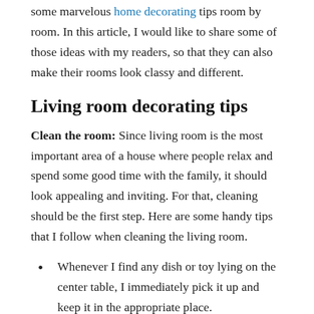some marvelous home decorating tips room by room. In this article, I would like to share some of those ideas with my readers, so that they can also make their rooms look classy and different.
Living room decorating tips
Clean the room: Since living room is the most important area of a house where people relax and spend some good time with the family, it should look appealing and inviting. For that, cleaning should be the first step. Here are some handy tips that I follow when cleaning the living room.
Whenever I find any dish or toy lying on the center table, I immediately pick it up and keep it in the appropriate place.
Next, I collect trash (if any), and throw into the wastebasket. I collect all the belongings in the room